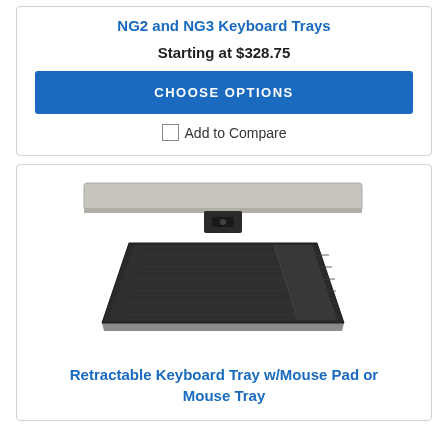NG2 and NG3 Keyboard Trays
Starting at $328.75
CHOOSE OPTIONS
Add to Compare
[Figure (photo): Retractable keyboard tray with black platform and mouse pad, attached to a desk rail, viewed from above at an angle.]
Retractable Keyboard Tray w/Mouse Pad or Mouse Tray